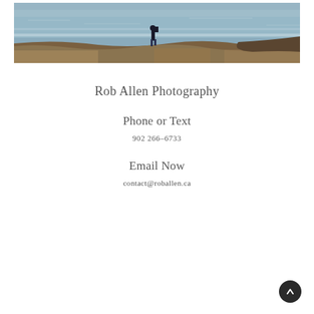[Figure (photo): A photographer standing on a coastal cliff/headland overlooking the ocean, with grass and sandy terrain in the foreground and water in the background.]
Rob Allen Photography
Phone or Text
902 266-6733
Email Now
contact@roballen.ca